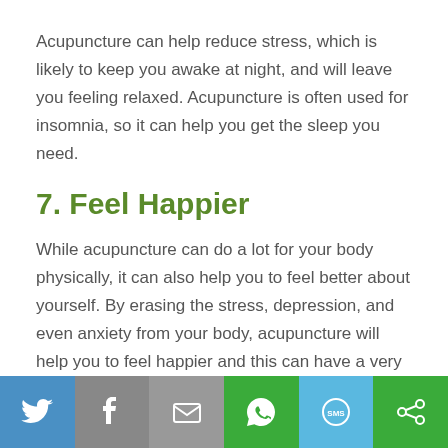Acupuncture can help reduce stress, which is likely to keep you awake at night, and will leave you feeling relaxed. Acupuncture is often used for insomnia, so it can help you get the sleep you need.
7. Feel Happier
While acupuncture can do a lot for your body physically, it can also help you to feel better about yourself. By erasing the stress, depression, and even anxiety from your body, acupuncture will help you to feel happier and this can have a very positive effect on the aging process both inside your body and outside
[Figure (infographic): Social sharing bar with icons for Twitter (blue), Facebook (grey), Email (grey), WhatsApp (green), SMS (light blue), and a share icon (green)]